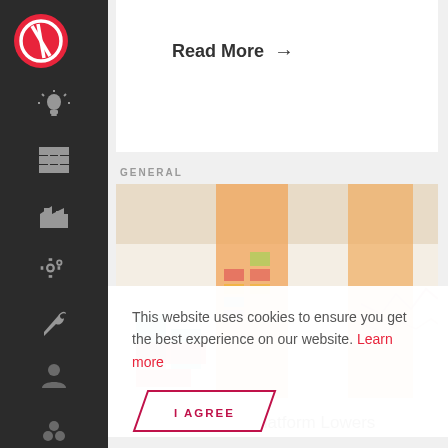Read More →
GENERAL
[Figure (photo): Photo of colorful bar charts on paper with orange and blue bars, viewed from an angle]
This website uses cookies to ensure you get the best experience on our website. Learn more
I AGREE
How SC//Platform Lowers